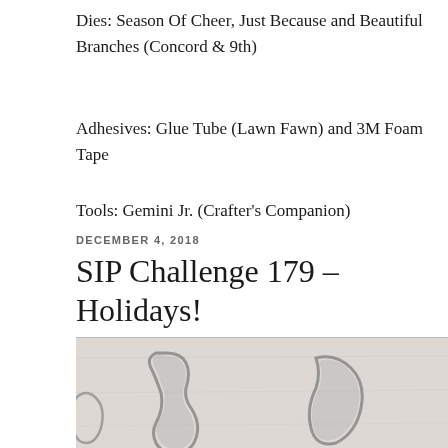Dies: Season Of Cheer, Just Because and Beautiful Branches (Concord & 9th)
Adhesives: Glue Tube (Lawn Fawn) and 3M Foam Tape
Tools: Gemini Jr. (Crafter's Companion)
buy kamagra no prescription
Valtrex no prescription
Buy citalopram Online
Kamagra without prescription
DECEMBER 4, 2018
SIP Challenge 179 – Holidays!
[Figure (photo): Photo showing metallic craft die-cut shapes on a light wood/white surface, partially visible at bottom of page]